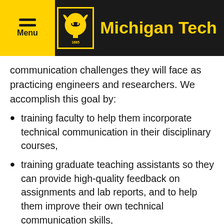Michigan Tech
communication challenges they will face as practicing engineers and researchers. We accomplish this goal by:
training faculty to help them incorporate technical communication in their disciplinary courses,
training graduate teaching assistants so they can provide high-quality feedback on assignments and lab reports, and to help them improve their own technical communication skills,
collaborating with the Michigan Tech Multiliteracies Center to train coaches in our Engineering Learning Center to help second- and third-year students with technical communication assignments,
providing a series of technical communication